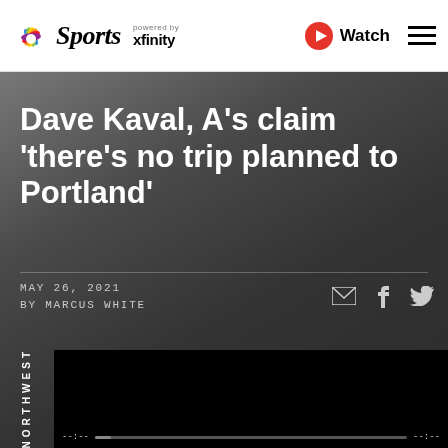NBC Sports powered by xfinity | Watch
Dave Kaval, A's claim 'there's no trip planned to Portland'
MAY 26, 2021
BY MARCUS WHITE
[Figure (screenshot): Black video player area with playback controls at bottom]